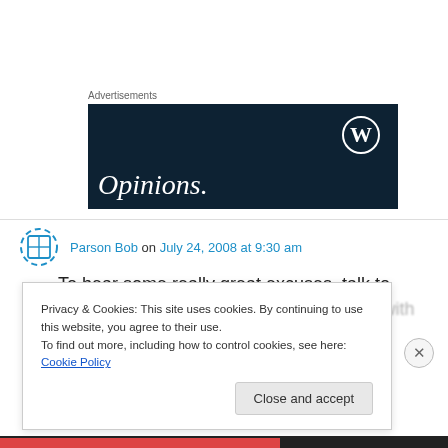Advertisements
[Figure (illustration): WordPress advertisement banner with dark navy background, WordPress logo (W in circle) top right, and 'Opinions.' text in white serif italic font at bottom left]
Parson Bob on July 24, 2008 at 9:30 am
To hear some really great excuses, talk to
Privacy & Cookies: This site uses cookies. By continuing to use this website, you agree to their use.
To find out more, including how to control cookies, see here: Cookie Policy
Close and accept